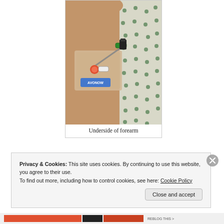[Figure (photo): Close-up photograph of the underside of a forearm with an IV cannula/catheter inserted and taped down, with a blue label reading 'AVONOW' visible. The arm rests on a hospital gown with green polka dots.]
Underside of forearm
Privacy & Cookies: This site uses cookies. By continuing to use this website, you agree to their use.
To find out more, including how to control cookies, see here: Cookie Policy